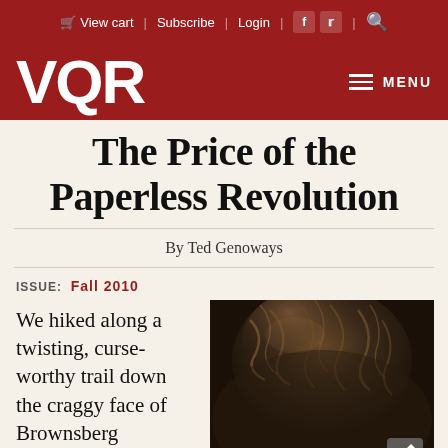View cart | Subscribe | Login
VQR  MENU
The Price of the Paperless Revolution
By Ted Genoways
ISSUE: Fall 2010
[Figure (photo): Close-up photo of a person's dark curly hair, top of head visible, dark tones]
We hiked along a twisting, curse-worthy trail down the craggy face of Brownsberg